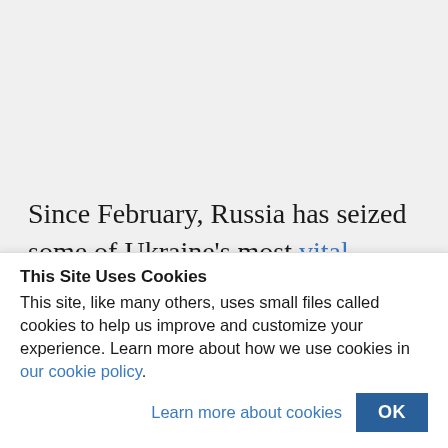Since February, Russia has seized some of Ukraine's most vital agricultural regions in the eastern and southeastern parts of the country. The Russian military has also...
This Site Uses Cookies
This site, like many others, uses small files called cookies to help us improve and customize your experience. Learn more about how we use cookies in our cookie policy.
Learn more about cookies   OK